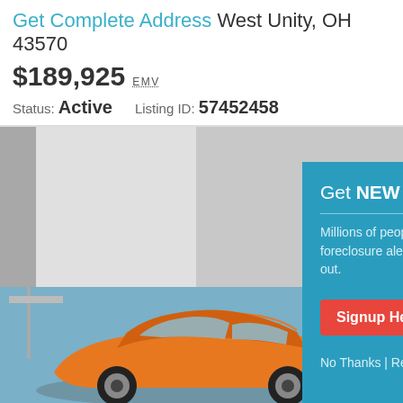Get Complete Address West Unity, OH 43570
$189,925 EMV
Status: Active    Listing ID: 57452458
[Figure (screenshot): Property listing photo placeholder - gray blurred image area]
[Figure (infographic): Popup overlay: Get NEW Foreclosure Listings sent to your inbox. Millions of people receive foreclosure alerts daily, don't miss out. Signup Here button. No Thanks | Remind Me Later. Envelope icon.]
[Figure (photo): Orange sports car (Audi TT) parked near a yacht, partially visible at bottom of page]